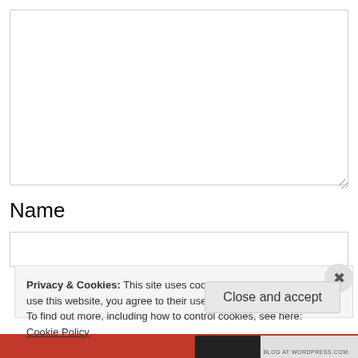[Figure (screenshot): Empty textarea input box with resize handle at bottom-right]
Name
[Figure (screenshot): Empty text input field for Name]
Privacy & Cookies: This site uses cookies. By continuing to use this website, you agree to their use.
To find out more, including how to control cookies, see here:
Cookie Policy
Close and accept